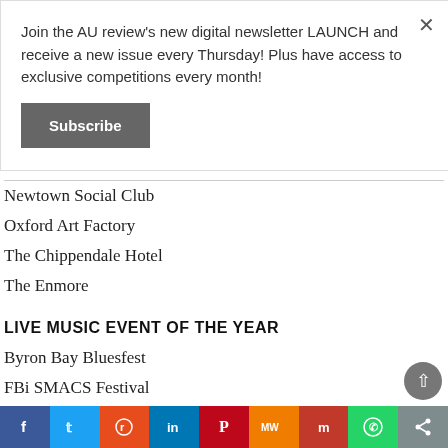Join the AU review's new digital newsletter LAUNCH and receive a new issue every Thursday! Plus have access to exclusive competitions every month!
Subscribe
Newtown Social Club
Oxford Art Factory
The Chippendale Hotel
The Enmore
LIVE MUSIC EVENT OF THE YEAR
Byron Bay Bluesfest
FBi SMACS Festival
King Street Crawl
Newtown Festival
Secret Garden